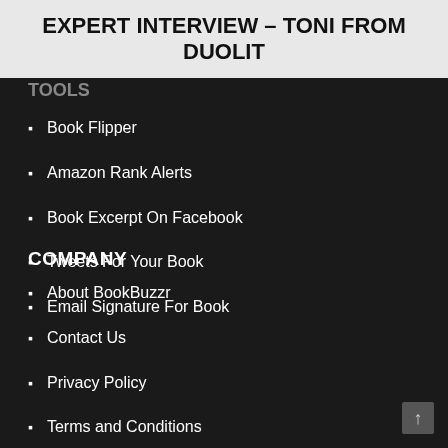EXPERT INTERVIEW – TONI FROM DUOLIT
Book Flipper
Amazon Rank Alerts
Book Excerpt On Facebook
Tweets For Your Book
Email Signature For Book
COMPANY
About BookBuzzr
Contact Us
Privacy Policy
Terms and Conditions